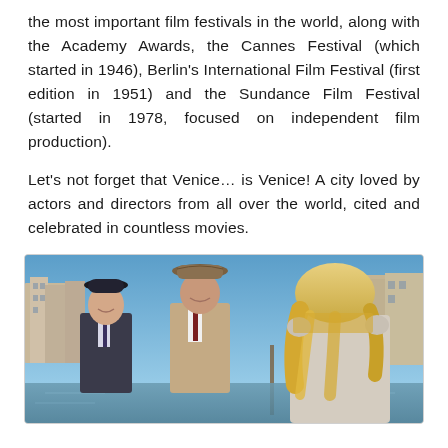the most important film festivals in the world, along with the Academy Awards, the Cannes Festival (which started in 1946), Berlin's International Film Festival (first edition in 1951) and the Sundance Film Festival (started in 1978, focused on independent film production).
Let's not forget that Venice… is Venice! A city loved by actors and directors from all over the world, cited and celebrated in countless movies.
[Figure (photo): A movie still set in Venice, showing two men in suits and hats (one in a dark suit with a bowler hat, one in a beige suit with a fedora) smiling, with a blonde woman seen from behind in the foreground right, and Venetian canal buildings and water visible in the background.]